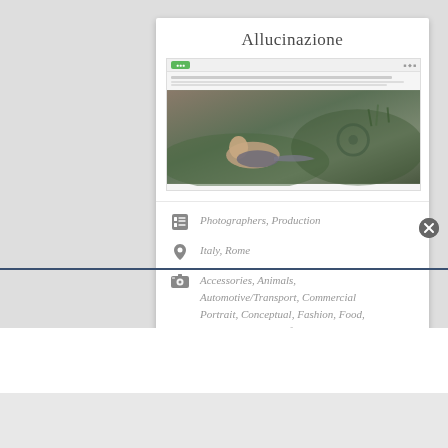Allucinazione
[Figure (screenshot): Screenshot of a website named Allucinazione showing a header bar with a green button and navigation, followed by a photo of a person lying on the ground outdoors among grass and a bicycle]
Photographers, Production
Italy, Rome
Accessories, Animals, Automotive/Transport, Commercial Portrait, Conceptual, Fashion, Food, Jewelry/Watches, Lifestyle, Liquid, People, Reportage, Sports/Athletes, Still Life